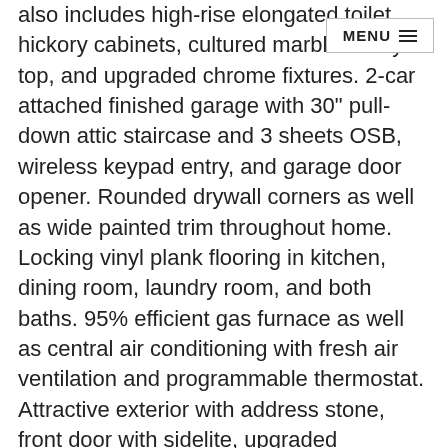also includes high-rise elongated toilet, hickory cabinets, cultured marble vanity top, and upgraded chrome fixtures. 2-car attached finished garage with 30" pull-down attic staircase and 3 sheets OSB, wireless keypad entry, and garage door opener. Rounded drywall corners as well as wide painted trim throughout home. Locking vinyl plank flooring in kitchen, dining room, laundry room, and both baths. 95% efficient gas furnace as well as central air conditioning with fresh air ventilation and programmable thermostat. Attractive exterior with address stone, front door with sidelite, upgraded landmark shingles, vinyl siding with vertical board and batten siding, and exterior lighting with partial stone front. Landscape package included. This great home is part of the villa association program with lawn maintenance and snow removal to be one of f...